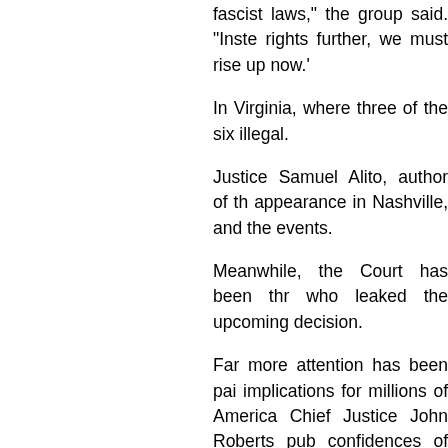fascist laws," the group said. "Inste rights further, we must rise up now.'
In Virginia, where three of the six illegal.
Justice Samuel Alito, author of th appearance in Nashville, and the events.
Meanwhile, the Court has been thr who leaked the upcoming decision.
Far more attention has been pai implications for millions of America Chief Justice John Roberts pub confidences of the court was intend will not succeed."
Not all protests were aimed at the J
Ruth Sent Us also planned to ta